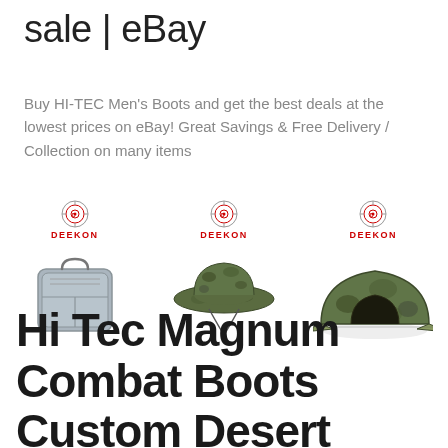sale | eBay
Buy HI-TEC Men's Boots and get the best deals at the lowest prices on eBay! Great Savings & Free Delivery / Collection on many items
[Figure (photo): Three product images each with DEEKON logo above: a metal mess tin/container, a camouflage boonie hat, and a camouflage dome tent]
Hi Tec Magnum Combat Boots Custom Desert Jungle Spray ...